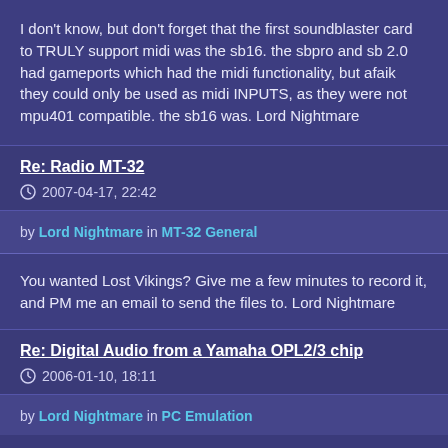I don't know, but don't forget that the first soundblaster card to TRULY support midi was the sb16. the sbpro and sb 2.0 had gameports which had the midi functionality, but afaik they could only be used as midi INPUTS, as they were not mpu401 compatible. the sb16 was. Lord Nightmare
Re: Radio MT-32
2007-04-17, 22:42
by Lord Nightmare in MT-32 General
You wanted Lost Vikings? Give me a few minutes to record it, and PM me an email to send the files to. Lord Nightmare
Re: Digital Audio from a Yamaha OPL2/3 chip
2006-01-10, 18:11
by Lord Nightmare in PC Emulation